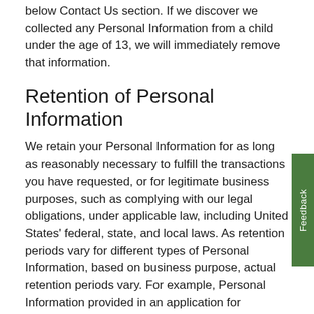below Contact Us section. If we discover we collected any Personal Information from a child under the age of 13, we will immediately remove that information.
Retention of Personal Information
We retain your Personal Information for as long as reasonably necessary to fulfill the transactions you have requested, or for legitimate business purposes, such as complying with our legal obligations, under applicable law, including United States' federal, state, and local laws. As retention periods vary for different types of Personal Information, based on business purpose, actual retention periods vary. For example, Personal Information provided in an application for community funding and donation programs has a different retention period than establishing electric utility service.
Security Safeguards
We share your concerns regarding the safeguarding of your Personal Information. SCE complies with applicable